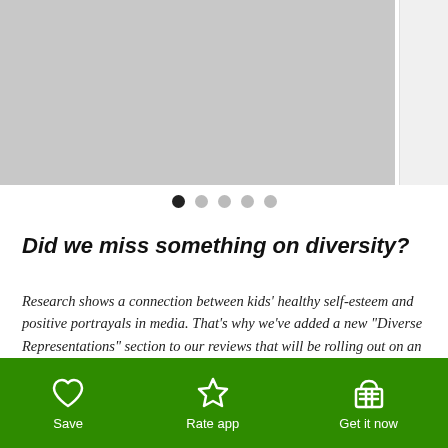[Figure (screenshot): Gray placeholder image area for a carousel slide, with a partial second slide visible on the right]
• • • • • (carousel dots, first active)
Did we miss something on diversity?
Research shows a connection between kids' healthy self-esteem and positive portrayals in media. That's why we've added a new "Diverse Representations" section to our reviews that will be rolling out on an ongoing basis. You can help us help kids by suggesting a diversity update.
Save | Rate app | Get it now